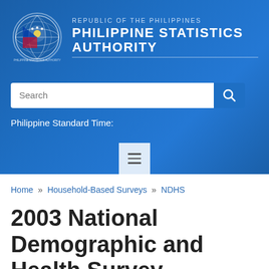[Figure (logo): Philippine Statistics Authority logo with globe and Philippine flag colors, along with text 'Republic of the Philippines Philippine Statistics Authority']
Search
Philippine Standard Time:
Home » Household-Based Surveys » NDHS
2003 National Demographic and Health Survey